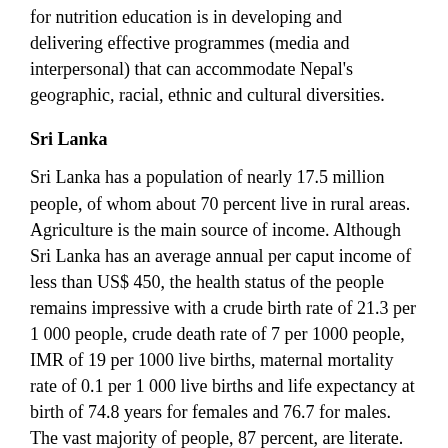for nutrition education is in developing and delivering effective programmes (media and interpersonal) that can accommodate Nepal's geographic, racial, ethnic and cultural diversities.
Sri Lanka
Sri Lanka has a population of nearly 17.5 million people, of whom about 70 percent live in rural areas. Agriculture is the main source of income. Although Sri Lanka has an average annual per caput income of less than US$ 450, the health status of the people remains impressive with a crude birth rate of 21.3 per 1 000 people, crude death rate of 7 per 1000 people, IMR of 19 per 1000 live births, maternal mortality rate of 0.1 per 1 000 live births and life expectancy at birth of 74.8 years for females and 76.7 for males. The vast majority of people, 87 percent, are literate. These exceptional achievements are attributed to social welfare measures. Paradoxically, this favourable overall situation exists in parallel with high rates of morbidity and ill health.
Malnutrition, including PEM, low birth weight and deficiencies in vitamins and nutrients in Asia...